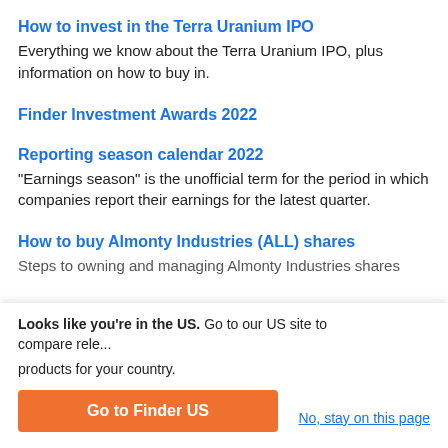How to invest in the Terra Uranium IPO
Everything we know about the Terra Uranium IPO, plus information on how to buy in.
Finder Investment Awards 2022
Reporting season calendar 2022
"Earnings season" is the unofficial term for the period in which companies report their earnings for the latest quarter.
How to buy Almonty Industries (ALL) shares
Steps to owning and managing Almonty Industries shares
Looks like you're in the US. Go to our US site to compare relevant products for your country.
Go to Finder US
No, stay on this page